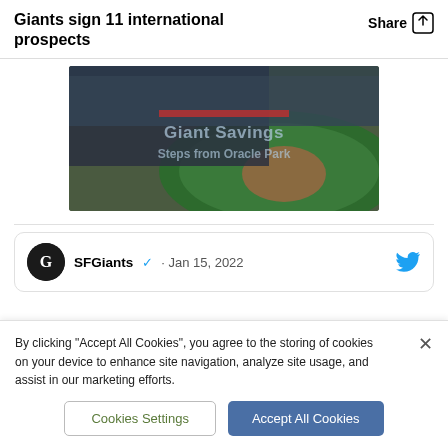Giants sign 11 international prospects
[Figure (photo): Aerial view of a packed baseball stadium (Oracle Park) with crowd in stands and green field visible, overlaid with watermark text 'Giant Savings. Steps from Oracle Park']
SFGiants ✓ · Jan 15, 2022
By clicking "Accept All Cookies", you agree to the storing of cookies on your device to enhance site navigation, analyze site usage, and assist in our marketing efforts.